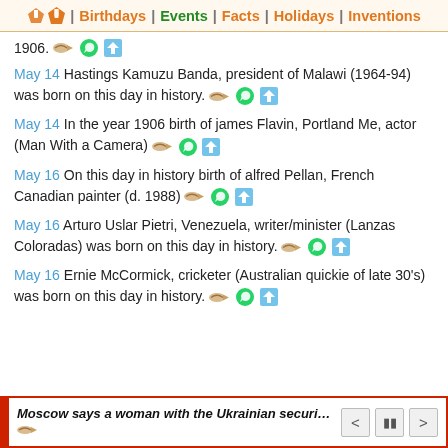🏠 | Birthdays | Events | Facts | Holidays | Inventions
1906.
May 14 Hastings Kamuzu Banda, president of Malawi (1964-94) was born on this day in history.
May 14 In the year 1906 birth of james Flavin, Portland Me, actor (Man With a Camera)
May 16 On this day in history birth of alfred Pellan, French Canadian painter (d. 1988)
May 16 Arturo Uslar Pietri, Venezuela, writer/minister (Lanzas Coloradas) was born on this day in history.
May 16 Ernie McCormick, cricketer (Australian quickie of late 30's) was born on this day in history.
Moscow says a woman with the Ukrainian security service